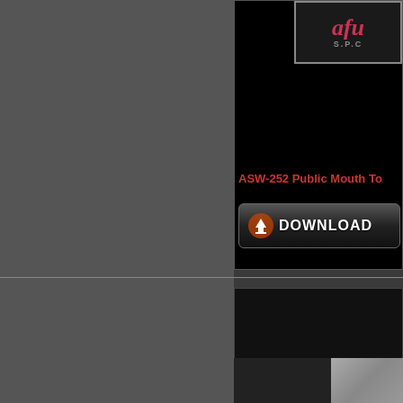[Figure (logo): Logo with stylized text and S.P.C label on dark background]
ASW-252 Public Mouth To
[Figure (other): Download button with arrow icon and DOWNLOAD text]
BFSL-271 ████████
→ Scat Video
[Figure (photo): Thumbnail image partially visible at bottom right]